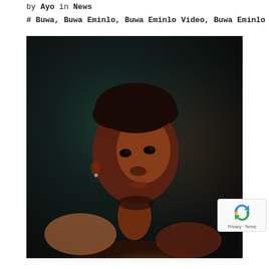by Ayo in News
# Buwa, Buwa Eminlo, Buwa Eminlo Video, Buwa Eminlo
[Figure (photo): Portrait of a young shirtless Black man with short natural hair, lit dramatically against a dark teal/brown gradient background, looking slightly upward toward the camera.]
Privacy · Terms